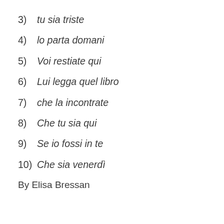3) tu sia triste
4) lo parta domani
5) Voi restiate qui
6) Lui legga quel libro
7) che la incontrate
8) Che tu sia qui
9) Se io fossi in te
10) Che sia venerdì
By Elisa Bressan